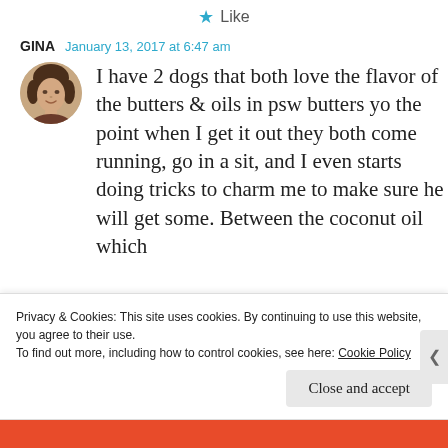★ Like
GINA   January 13, 2017 at 6:47 am
I have 2 dogs that both love the flavor of the butters & oils in psw butters yo the point when I get it out they both come running, go in a sit, and I even starts doing tricks to charm me to make sure he will get some. Between the coconut oil which
Privacy & Cookies: This site uses cookies. By continuing to use this website, you agree to their use.
To find out more, including how to control cookies, see here: Cookie Policy
Close and accept